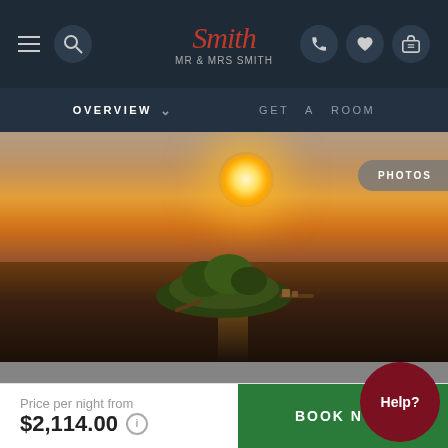Mr & Mrs Smith — navigation bar with menu, search, logo, phone, heart, bag icons
OVERVIEW | GET A ROOM
[Figure (photo): Aerial sunset photo of a small island resort in the Maldives, surrounded by calm ocean water with golden sun reflection, with a PHOTOS button overlay]
LOCATION
ADDRESS
Price per night from $2,114.00
BOOK NOW